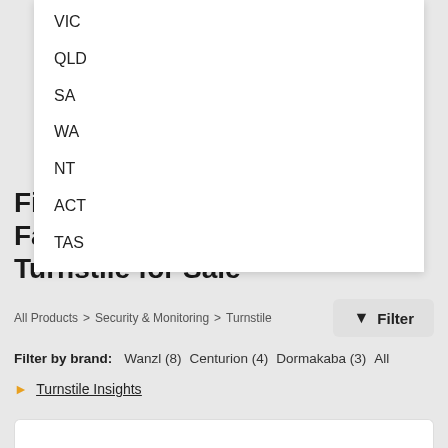VIC
QLD
SA
WA
NT
ACT
TAS
Find a Gunnebo & Parking Facilities Limited & Kone Turnstile for Sale
All Products > Security & Monitoring > Turnstile
Filter by brand: Wanzl (8)  Centurion (4)  Dormakaba (3)  All
Turnstile Insights